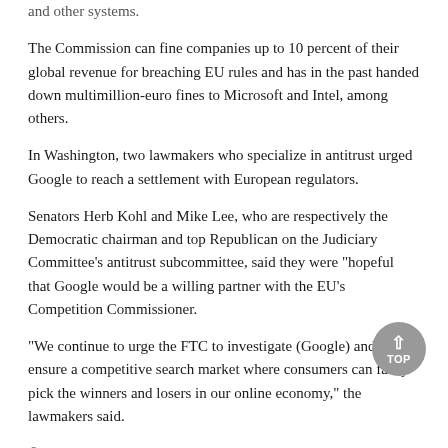and other systems.
The Commission can fine companies up to 10 percent of their global revenue for breaching EU rules and has in the past handed down multimillion-euro fines to Microsoft and Intel, among others.
In Washington, two lawmakers who specialize in antitrust urged Google to reach a settlement with European regulators.
Senators Herb Kohl and Mike Lee, who are respectively the Democratic chairman and top Republican on the Judiciary Committee's antitrust subcommittee, said they were "hopeful that Google would be a willing partner with the EU's Competition Commissioner.
"We continue to urge the FTC to investigate (Google) and to ensure a competitive search market where consumers can fairly pick the winners and losers in our online economy," the lawmakers said.
© 2022 Thomson/Reuters. All rights reserved.